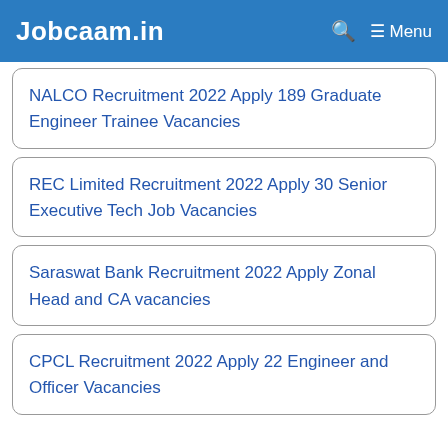Jobcaam.in  Menu
NALCO Recruitment 2022 Apply 189 Graduate Engineer Trainee Vacancies
REC Limited Recruitment 2022 Apply 30 Senior Executive Tech Job Vacancies
Saraswat Bank Recruitment 2022 Apply Zonal Head and CA vacancies
CPCL Recruitment 2022 Apply 22 Engineer and Officer Vacancies